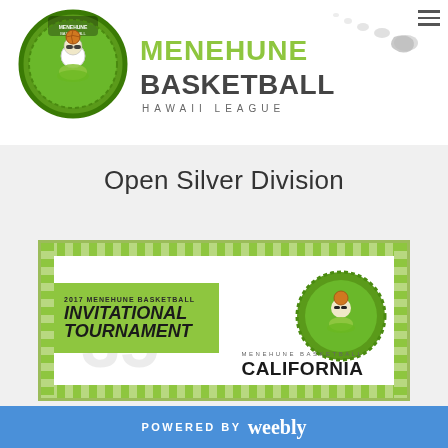[Figure (logo): Menehune Basketball Hawaii League logo with circular mascot and brand name, Hawaiian islands silhouette in background]
Open Silver Division
[Figure (illustration): 2017 Menehune Basketball Invitational Tournament California tournament banner/flyer with green chevron border, mascot logo, and California text]
POWERED BY weebly